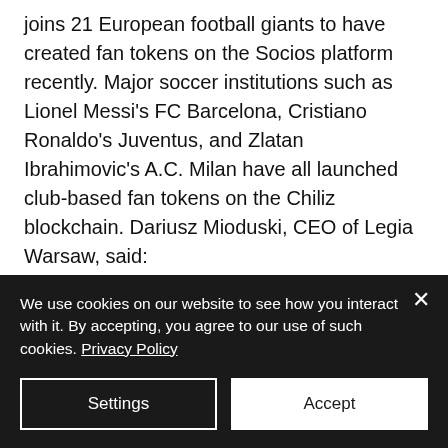joins 21 European football giants to have created fan tokens on the Socios platform recently. Major soccer institutions such as Lionel Messi's FC Barcelona, Cristiano Ronaldo's Juventus, and Zlatan Ibrahimovic's A.C. Milan have all launched club-based fan tokens on the Chiliz blockchain. Dariusz Mioduski, CEO of Legia Warsaw, said:
“Pioneering solutions and
We use cookies on our website to see how you interact with it. By accepting, you agree to our use of such cookies. Privacy Policy